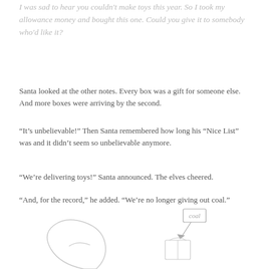I was sad to hear you couldn't make toys this year. So I took my allowance money and bought this one. Could you give it to somebody who'd like it?
Santa looked at the other notes. Every box was a gift for someone else. And more boxes were arriving by the second.
“It’s unbelievable!” Then Santa remembered how long his “Nice List” was and it didn’t seem so unbelievable anymore.
“We’re delivering toys!” Santa announced. The elves cheered.
“And, for the record,” he added. “We’re no longer giving out coal.”
[Figure (illustration): Simple line drawing at the bottom of the page showing a rounded shape on the left (possibly a sack or figure) and on the right a box labeled 'coal' with an arrow pointing down to a small gift/box shape.]